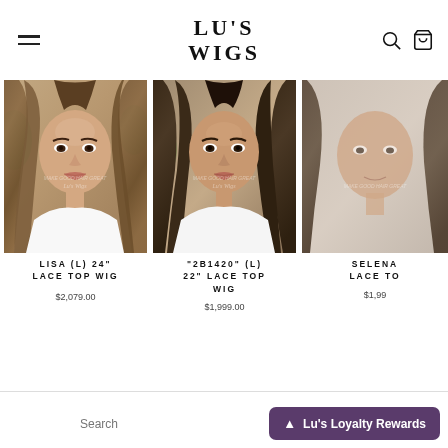LU'S WIGS
[Figure (photo): Product photo of LISA (L) 24" Lace Top Wig - woman with long wavy brown hair]
LISA (L) 24" LACE TOP WIG
$2,079.00
[Figure (photo): Product photo of "2B1420" (L) 22" Lace Top Wig - woman with long dark brown hair]
"2B1420" (L) 22" LACE TOP WIG
$1,999.00
[Figure (photo): Partially visible product photo of SELENA Lace Top Wig - woman with dark hair]
SELENA LACE TO
$1,99
Search
Lu's Loyalty Rewards